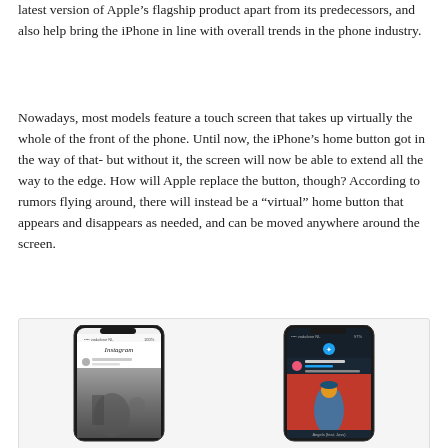latest version of Apple's flagship product apart from its predecessors, and also help bring the iPhone in line with overall trends in the phone industry.
Nowadays, most models feature a touch screen that takes up virtually the whole of the front of the phone. Until now, the iPhone's home button got in the way of that- but without it, the screen will now be able to extend all the way to the edge. How will Apple replace the button, though? According to rumors flying around, there will instead be a “virtual” home button that appears and disappears as needed, and can be moved anywhere around the screen.
[Figure (photo): Two smartphones showing the edge-to-edge display: the left phone shows an Instagram feed in light mode, the right phone shows a Twitter/music app in dark mode.]